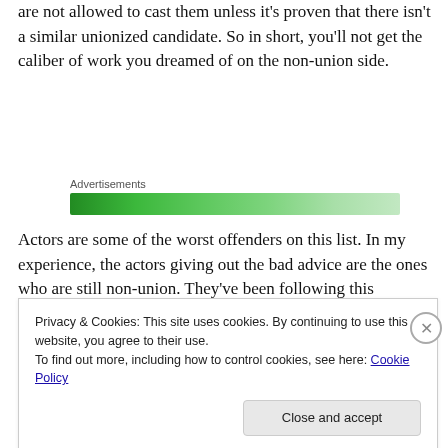are not allowed to cast them unless it's proven that there isn't a similar unionized candidate. So in short, you'll not get the caliber of work you dreamed of on the non-union side.
[Figure (other): Advertisements banner — a green gradient horizontal bar labeled 'Advertisements']
Actors are some of the worst offenders on this list. In my experience, the actors giving out the bad advice are the ones who are still non-union. They've been following this
Privacy & Cookies: This site uses cookies. By continuing to use this website, you agree to their use.
To find out more, including how to control cookies, see here: Cookie Policy
Close and accept